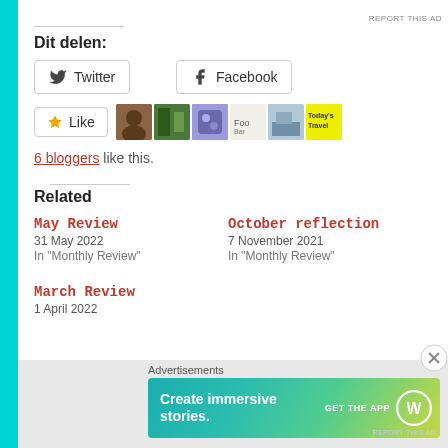Dit delen:
Twitter
Facebook
6 bloggers like this.
Related
May Review
31 May 2022
In "Monthly Review"
October reflection
7 November 2021
In "Monthly Review"
March Review
1 April 2022
Advertisements
[Figure (screenshot): WordPress advertisement banner: Create immersive stories. GET THE APP with WordPress logo]